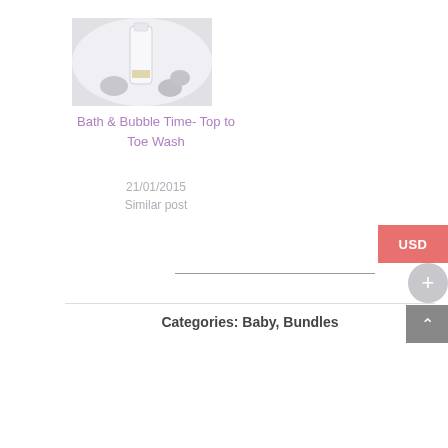[Figure (photo): Product photo of a bath wash bottle with stones on a white fluffy background]
Bath & Bubble Time- Top to Toe Wash
21/01/2015
Similar post
Categories: Baby, Bundles